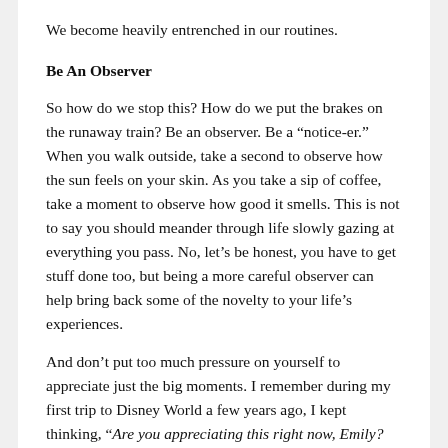We become heavily entrenched in our routines.
Be An Observer
So how do we stop this? How do we put the brakes on the runaway train? Be an observer. Be a “notice-er.” When you walk outside, take a second to observe how the sun feels on your skin. As you take a sip of coffee, take a moment to observe how good it smells. This is not to say you should meander through life slowly gazing at everything you pass. No, let’s be honest, you have to get stuff done too, but being a more careful observer can help bring back some of the novelty to your life’s experiences.
And don’t put too much pressure on yourself to appreciate just the big moments. I remember during my first trip to Disney World a few years ago, I kept thinking, “Are you appreciating this right now, Emily? Like, really appreciating it? Because you won’t be back here for a while. Appreciate harder.” It’s so much pressure! Being a careful observer will help you appreciate the little